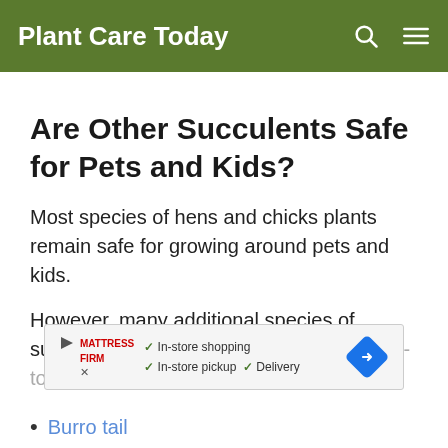Plant Care Today
Are Other Succulents Safe for Pets and Kids?
Most species of hens and chicks plants remain safe for growing around pets and kids.
However, many additional species of succulents grown are also considered non-toxic, including:
[Figure (other): Advertisement banner for Mattress Firm showing: In-store shopping, In-store pickup, Delivery with checkmarks and a navigation/map icon]
Burro tail